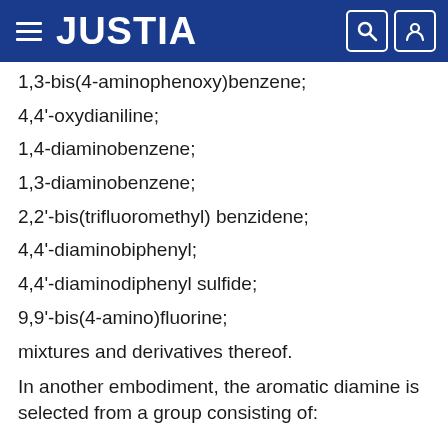JUSTIA
1,3-bis(4-aminophenoxy)benzene;
4,4'-oxydianiline;
1,4-diaminobenzene;
1,3-diaminobenzene;
2,2'-bis(trifluoromethyl) benzidene;
4,4'-diaminobiphenyl;
4,4'-diaminodiphenyl sulfide;
9,9'-bis(4-amino)fluorine;
mixtures and derivatives thereof.
In another embodiment, the aromatic diamine is selected from a group consisting of: